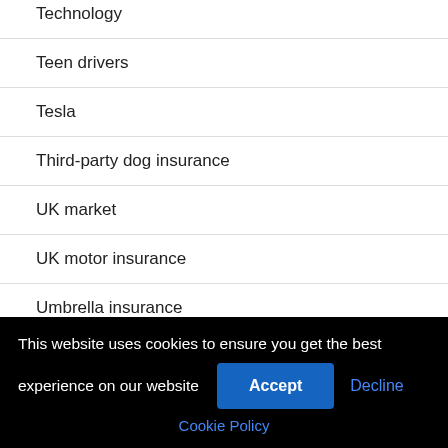Technology
Teen drivers
Tesla
Third-party dog insurance
UK market
UK motor insurance
Umbrella insurance
This website uses cookies to ensure you get the best experience on our website
Accept
Decline
Cookie Policy